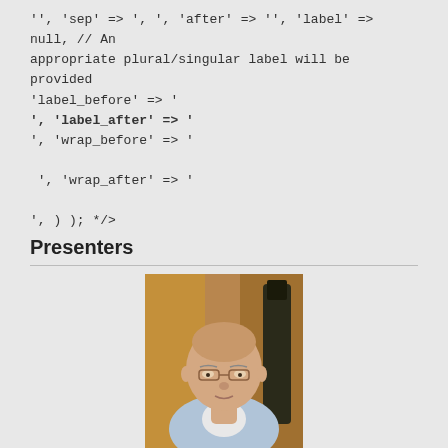'', 'sep' => ', ', 'after' => '', 'label' => null, // An appropriate plural/singular label will be provided
'label_before' => '
', 'label_after' => '
', 'wrap_before' => '
 ', 'wrap_after' => '

', ) ); */?>
Presenters
[Figure (photo): Portrait photo of an elderly man with glasses, balding head, wearing a light blue shirt, with wooden background and a dark bottle visible behind him.]
Michael F. Ashby is Emeritus Professor in the Department of Engineering at the University of Cambridge. He is a world-renowned authority on